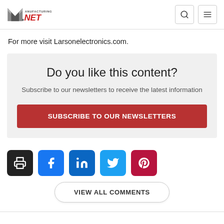Manufacturing.net
For more visit Larsonelectronics.com.
Do you like this content? Subscribe to our newsletters to receive the latest information
SUBSCRIBE TO OUR NEWSLETTERS
[Figure (other): Social share icons row: print (black), Facebook (blue), LinkedIn (dark blue), Twitter (light blue), Pinterest (dark red)]
VIEW ALL COMMENTS